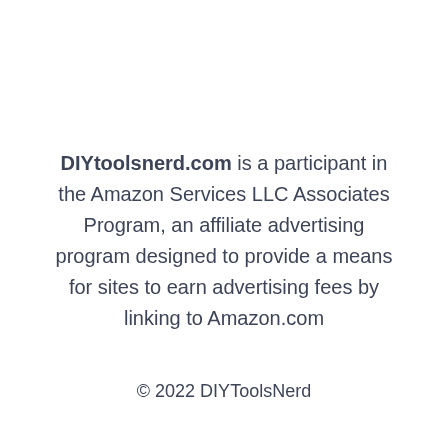DIYtoolsnerd.com is a participant in the Amazon Services LLC Associates Program, an affiliate advertising program designed to provide a means for sites to earn advertising fees by linking to Amazon.com
© 2022 DIYToolsNerd